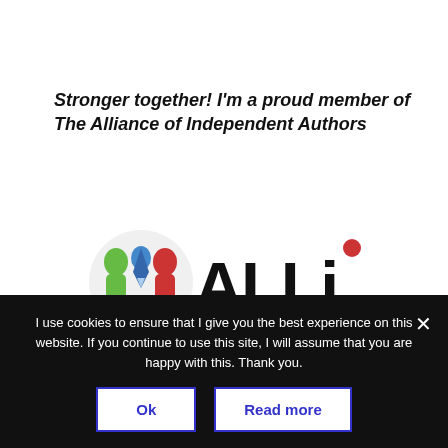Stronger together! I'm a proud member of The Alliance of Independent Authors
[Figure (logo): ALLi - Alliance of Independent Authors logo featuring colorful figures (green, red, blue) with a pen nib and the text 'ALLi' in large black letters with a red dot on the i, and 'Alliance of Independent Authors' below]
I use cookies to ensure that I give you the best experience on this website. If you continue to use this site, I will assume that you are happy with this. Thank you.
Ok
Read more